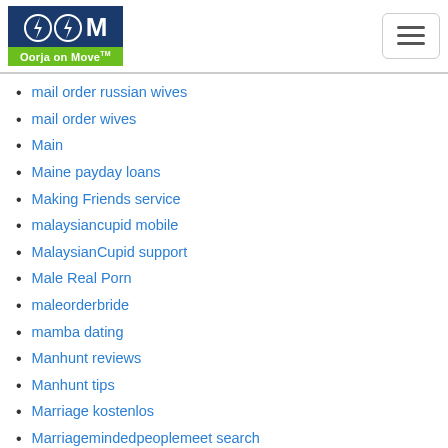Oorja on Move™ logo and hamburger menu
mail order russian wives
mail order wives
Main
Maine payday loans
Making Friends service
malaysiancupid mobile
MalaysianCupid support
Male Real Porn
maleorderbride
mamba dating
Manhunt reviews
Manhunt tips
Marriage kostenlos
Marriagemindedpeoplemeet search
married secrets login
Married Secrets reviews